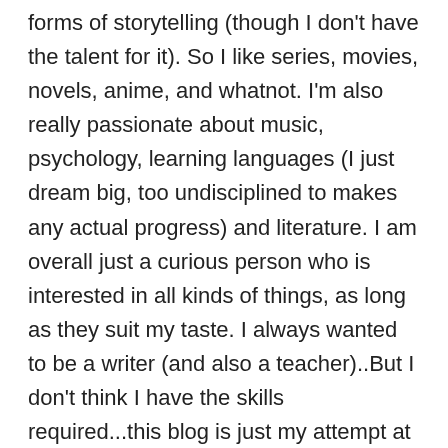forms of storytelling (though I don't have the talent for it). So I like series, movies, novels, anime, and whatnot. I'm also really passionate about music, psychology, learning languages (I just dream big, too undisciplined to makes any actual progress) and literature. I am overall just a curious person who is interested in all kinds of things, as long as they suit my taste. I always wanted to be a writer (and also a teacher)..But I don't think I have the skills required...this blog is just my attempt at becoming the writer I always wanted to be...Blogging for few years, I have realized I am more of a poet (although, I am not sure that I am good enough for that label)...I hope I realize more about myself